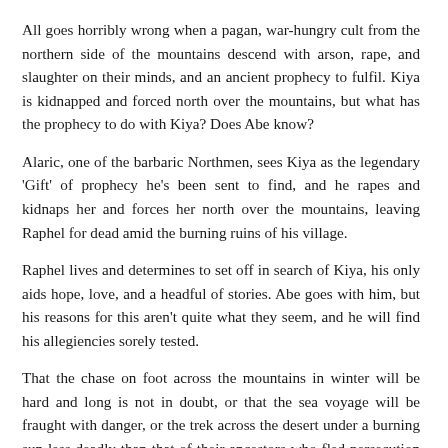All goes horribly wrong when a pagan, war-hungry cult from the northern side of the mountains descend with arson, rape, and slaughter on their minds, and an ancient prophecy to fulfil. Kiya is kidnapped and forced north over the mountains, but what has the prophecy to do with Kiya? Does Abe know?
Alaric, one of the barbaric Northmen, sees Kiya as the legendary 'Gift' of prophecy he's been sent to find, and he rapes and kidnaps her and forces her north over the mountains, leaving Raphel for dead amid the burning ruins of his village.
Raphel lives and determines to set off in search of Kiya, his only aids hope, love, and a headful of stories. Abe goes with him, but his reasons for this aren't quite what they seem, and he will find his allegiencies sorely tested.
That the chase on foot across the mountains in winter will be hard and long is not in doubt, or that the sea voyage will be fraught with danger, or the trek across the desert under a burning sun less deadly than that of their ancestors who fled persecution from East Africa. That